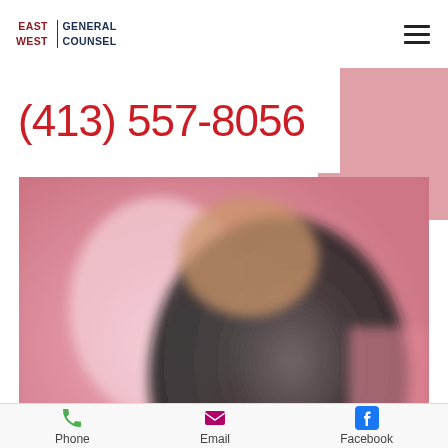EAST | GENERAL WEST | COUNSEL
(413) 557-8056
[Figure (photo): Blurred photo of a person in black clothing against a pink background]
I am looking at you, aspiring influencers
Phone  Email  Facebook